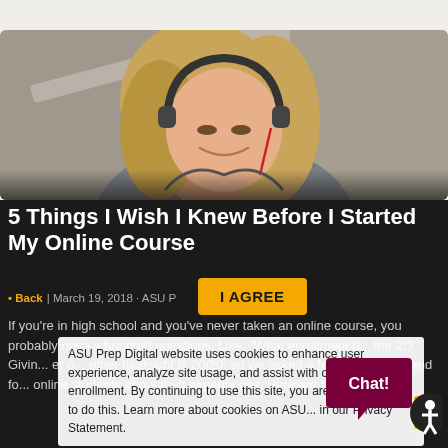[Figure (photo): Young woman with headphones smiling, looking downward, wearing a grey jacket in a blurred background setting.]
5 Things I Wish I Knew Before I Started My Online Course
• Back | March 19, 2018 · ASU P...
I AGREE
If you're in high school and you've never taken an online course, you probably have a hundred questions. Like, "What enrollment b... the 2!? Givin... er o... other hindsight is 20/20, so we asked a few real current and fo... online students about their experiences. Here are the top...
ASU Prep Digital website uses cookies to enhance user experience, analyze site usage, and assist with outreach and enrollment. By continuing to use this site, you are giving consent to do this. Learn more about cookies on ASU... in our Privacy Statement.
[Figure (other): Chat bubble button with 'Chat!' text in maroon, and an accessibility icon circle in dark with a golden stacked icon beside it.]